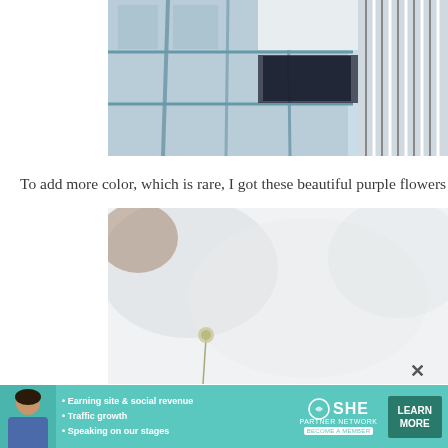[Figure (photo): Close-up photo of a glass cabinet/shelving unit with reflections, white drawers, and a striped textile on the right side]
To add more color, which is rare, I got these beautiful purple flowers to go on the t
[Figure (photo): Blurred/out-of-focus photo with a soft white background and a small round dried flower or seed pod visible at the bottom left]
[Figure (other): Advertisement banner for SHE Media Partner Network featuring a woman, bullet points about earning site & social revenue, traffic growth, speaking on stages, the SHE logo, and a LEARN MORE button]